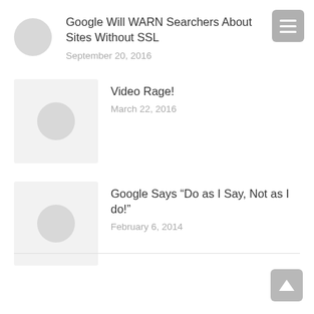Google Will WARN Searchers About Sites Without SSL
September 20, 2016
Video Rage!
March 22, 2016
Google Says “Do as I Say, Not as I do!”
February 6, 2014